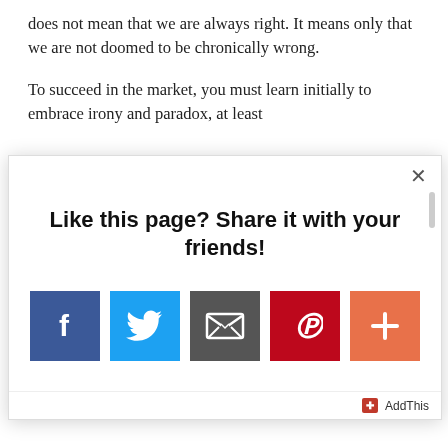does not mean that we are always right. It means only that we are not doomed to be chronically wrong.

To succeed in the market, you must learn initially to embrace irony and paradox, at least
[Figure (screenshot): A modal popup dialog with a close (x) button in the top right corner. The dialog contains the bold text 'Like this page? Share it with your friends!' centered, followed by a row of social sharing icon buttons: Facebook (blue with f), Twitter (light blue with bird), Email (dark gray with envelope), Pinterest (red with P), and a plus/more button (orange-red). At the bottom right is an 'AddThis' branding bar.]